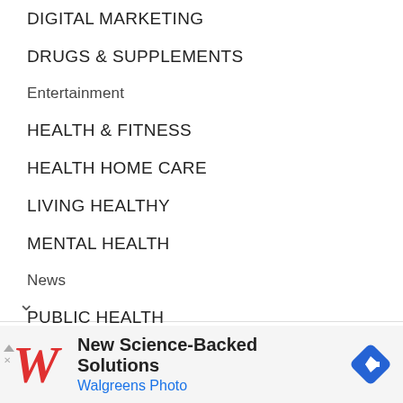DIGITAL MARKETING
DRUGS & SUPPLEMENTS
Entertainment
HEALTH & FITNESS
HEALTH HOME CARE
LIVING HEALTHY
MENTAL HEALTH
News
PUBLIC HEALTH
Recovery truck
[Figure (screenshot): Walgreens advertisement banner: Walgreens cursive logo, text 'New Science-Backed Solutions', 'Walgreens Photo', and a blue diamond-shaped navigation icon]